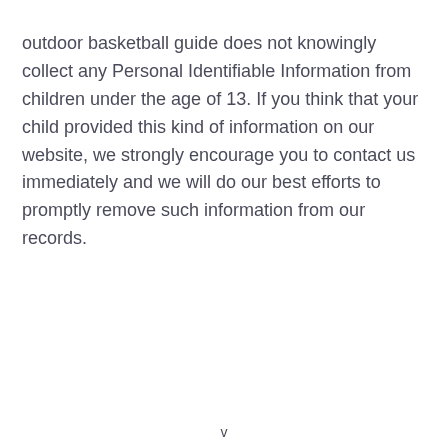outdoor basketball guide does not knowingly collect any Personal Identifiable Information from children under the age of 13. If you think that your child provided this kind of information on our website, we strongly encourage you to contact us immediately and we will do our best efforts to promptly remove such information from our records.
v